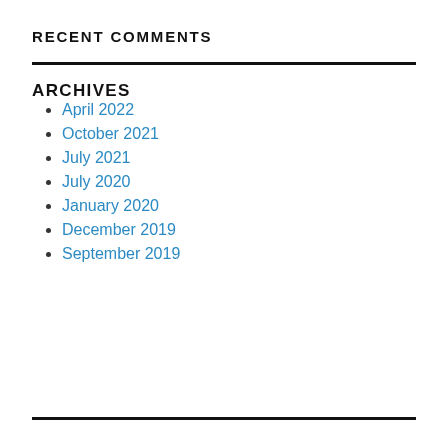RECENT COMMENTS
ARCHIVES
April 2022
October 2021
July 2021
July 2020
January 2020
December 2019
September 2019